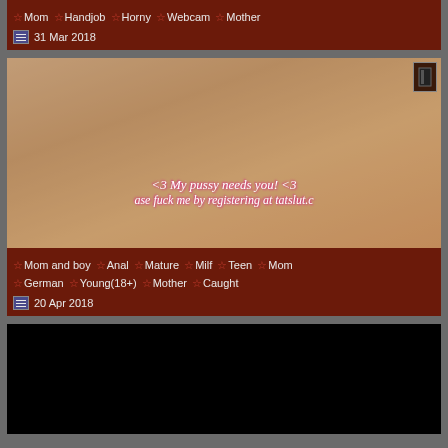Mom ☆ Handjob ☆ Horny ☆ Webcam ☆ Mother
31 Mar 2018
[Figure (photo): Video thumbnail with overlay text: <3 My pussy needs you! <3 / ase fuck me by registering at tatslut.c]
Mom and boy ☆ Anal ☆ Mature ☆ Milf ☆ Teen ☆ Mom ☆ German ☆ Young(18+) ☆ Mother ☆ Caught
20 Apr 2018
[Figure (photo): Black video thumbnail placeholder]